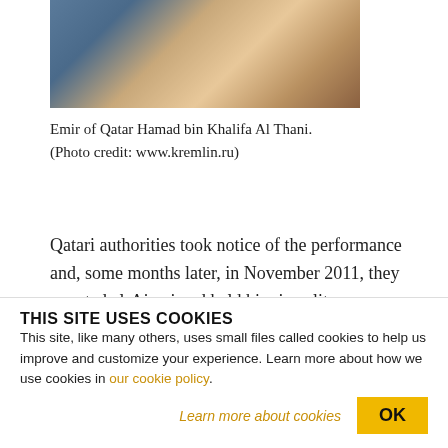[Figure (photo): Partial photograph of Emir of Qatar Hamad bin Khalifa Al Thani]
Emir of Qatar Hamad bin Khalifa Al Thani. (Photo credit: www.kremlin.ru)
Qatari authorities took notice of the performance and, some months later, in November 2011, they arrested al-Ajami and held him in solitary confinement for most of a year before bringing him
THIS SITE USES COOKIES
This site, like many others, uses small files called cookies to help us improve and customize your experience. Learn more about how we use cookies in our cookie policy.
Learn more about cookies